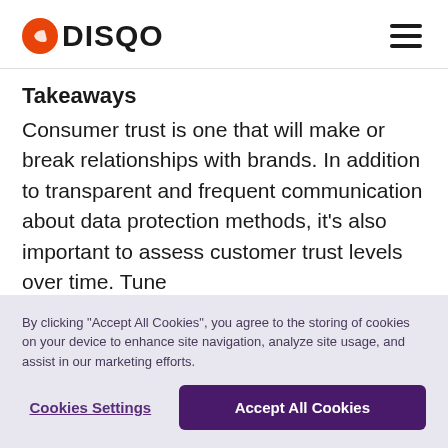DISQO
Takeaways
Consumer trust is one that will make or break relationships with brands. In addition to transparent and frequent communication about data protection methods, it's also important to assess customer trust levels over time. Tune
By clicking "Accept All Cookies", you agree to the storing of cookies on your device to enhance site navigation, analyze site usage, and assist in our marketing efforts.
Cookies Settings
Accept All Cookies